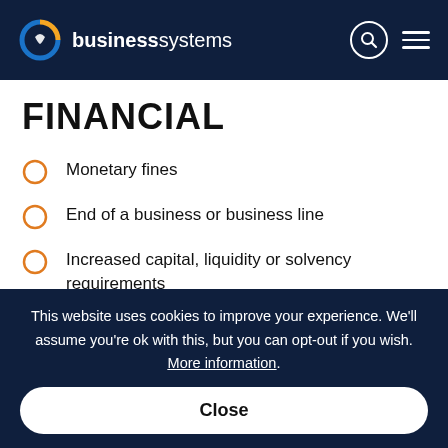business systems
FINANCIAL
Monetary fines
End of a business or business line
Increased capital, liquidity or solvency requirements
Impact on share price
This website uses cookies to improve your experience. We'll assume you're ok with this, but you can opt-out if you wish. More information.
Close